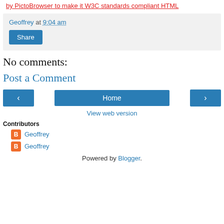by PictoBrowser to make it W3C standards compliant HTML
Geoffrey at 9:04 am
Share
No comments:
Post a Comment
[Figure (other): Navigation buttons: left arrow, Home, right arrow]
View web version
Contributors
Geoffrey
Geoffrey
Powered by Blogger.